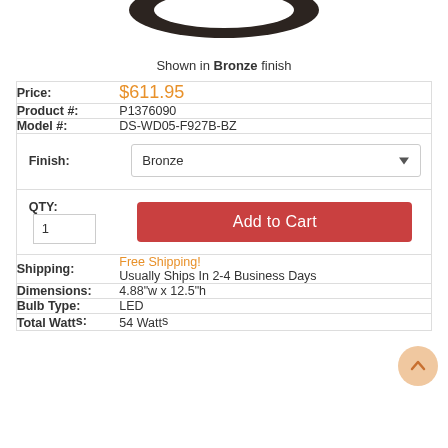[Figure (photo): Partial product image showing bottom of a ceiling light fixture in bronze finish]
Shown in Bronze finish
| Price: | $611.95 |
| Product #: | P1376090 |
| Model #: | DS-WD05-F927B-BZ |
| Finish: | Bronze |
| QTY: | 1 | Add to Cart |
| Shipping: | Free Shipping! Usually Ships In 2-4 Business Days |
| Dimensions: | 4.88"w x 12.5"h |
| Bulb Type: | LED |
| Total Watts: | 54 Watts |